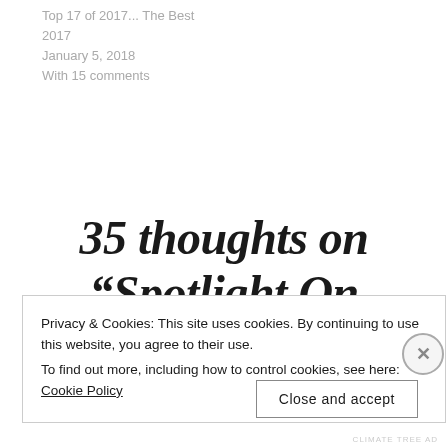Top 17 of 2017... The Best 2017
January 5, 2018
With 15 comments
35 thoughts on “Spotlight On
Privacy & Cookies: This site uses cookies. By continuing to use this website, you agree to their use.
To find out more, including how to control cookies, see here: Cookie Policy
Close and accept